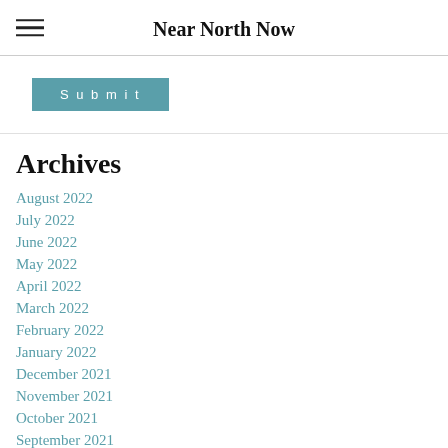Near North Now
Submit
Archives
August 2022
July 2022
June 2022
May 2022
April 2022
March 2022
February 2022
January 2022
December 2021
November 2021
October 2021
September 2021
August 2021
July 2021